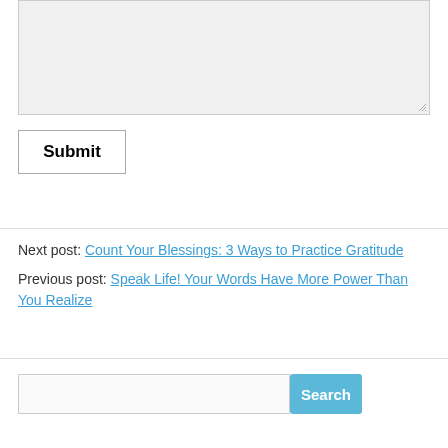[Figure (screenshot): A textarea input box with light gray background and resize handle in bottom-right corner]
Submit
Next post: Count Your Blessings: 3 Ways to Practice Gratitude
Previous post: Speak Life! Your Words Have More Power Than You Realize
[Figure (screenshot): A search bar with text input field and blue Search button]